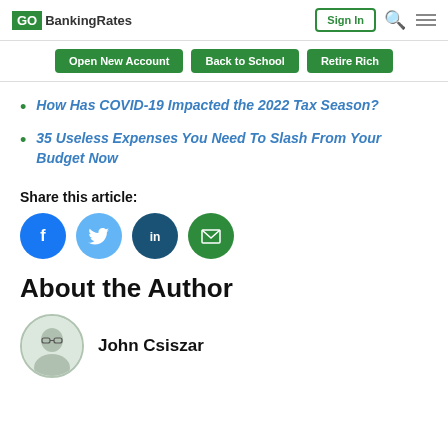GO BankingRates
How Has COVID-19 Impacted the 2022 Tax Season?
35 Useless Expenses You Need To Slash From Your Budget Now
Share this article:
[Figure (infographic): Social share icons: Facebook, Twitter, LinkedIn, Email]
About the Author
John Csiszar